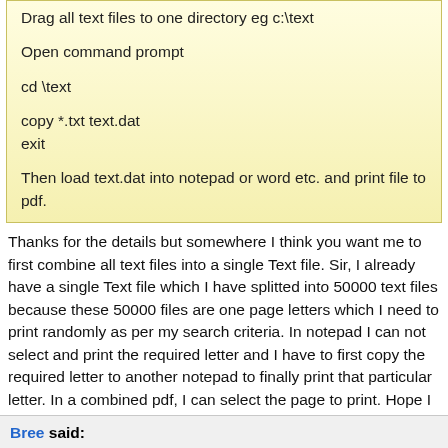Drag all text files to one directory eg c:\text

Open command prompt

cd \text

copy *.txt text.dat
exit

Then load text.dat into notepad or word etc. and print file to pdf.
Thanks for the details but somewhere I think you want me to first combine all text files into a single Text file. Sir, I already have a single Text file which I have splitted into 50000 text files because these 50000 files are one page letters which I need to print randomly as per my search criteria. In notepad I can not select and print the required letter and I have to first copy the required letter to another notepad to finally print that particular letter. In a combined pdf, I can select the page to print. Hope I am able to explain to you. Thanks
Bree said: